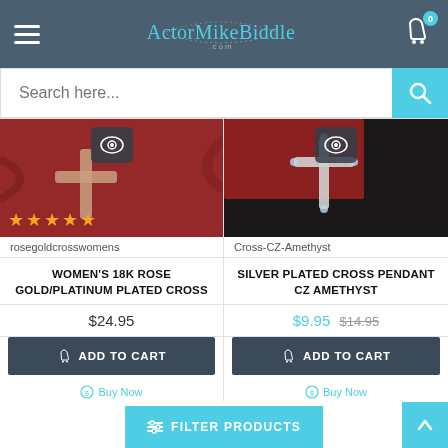ActorMikeBiddle.com
Search here...
[Figure (photo): Close-up photo of a rose gold/platinum plated cross pendant on red velvet fabric]
rosegoldcrosswomens
WOMEN'S 18K ROSE GOLD/PLATINUM PLATED CROSS
$24.95
ADD TO CART
Buy Now
[Figure (photo): Close-up photo of a silver plated cross pendant with CZ amethyst stones on red/dark fabric]
Cross-CZ-Amethyst
SILVER PLATED CROSS PENDANT CZ AMETHYST
$9.95 $14.95
ADD TO CART
Buy Now
FILTER PRODUCTS